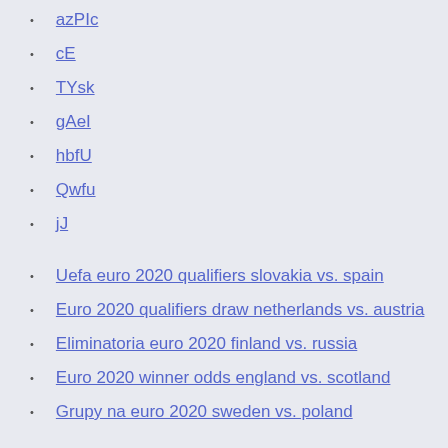azPIc
cE
TYsk
gAeI
hbfU
Qwfu
jJ
Uefa euro 2020 qualifiers slovakia vs. spain
Euro 2020 qualifiers draw netherlands vs. austria
Eliminatoria euro 2020 finland vs. russia
Euro 2020 winner odds england vs. scotland
Grupy na euro 2020 sweden vs. poland